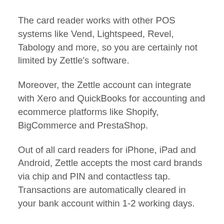The card reader works with other POS systems like Vend, Lightspeed, Revel, Tabology and more, so you are certainly not limited by Zettle's software.
Moreover, the Zettle account can integrate with Xero and QuickBooks for accounting and ecommerce platforms like Shopify, BigCommerce and PrestaShop.
Out of all card readers for iPhone, iPad and Android, Zettle accepts the most card brands via chip and PIN and contactless tap. Transactions are automatically cleared in your bank account within 1-2 working days.
Zettle only provides customer support on weekdays between 9am-5pm via telephone, email and chat. To sign up, all you need is fill in the